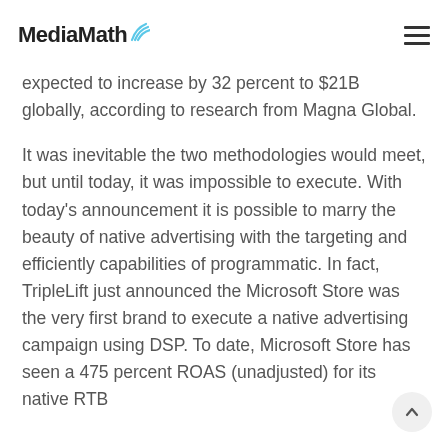MediaMath
expected to increase by 32 percent to $21B globally, according to research from Magna Global.
It was inevitable the two methodologies would meet, but until today, it was impossible to execute. With today’s announcement it is possible to marry the beauty of native advertising with the targeting and efficiently capabilities of programmatic. In fact, TripleLift just announced the Microsoft Store was the very first brand to execute a native advertising campaign using DSP. To date, Microsoft Store has seen a 475 percent ROAS (unadjusted) for its native RTB